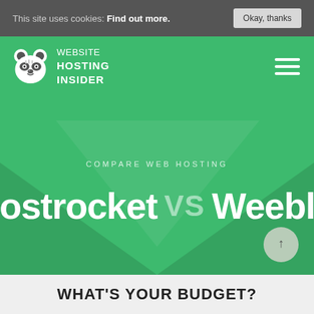This site uses cookies: Find out more. Okay, thanks
[Figure (logo): Website Hosting Insider raccoon logo with navigation hamburger menu on green background]
COMPARE WEB HOSTING
Hostrocket VS Weebly
WHAT'S YOUR BUDGET?